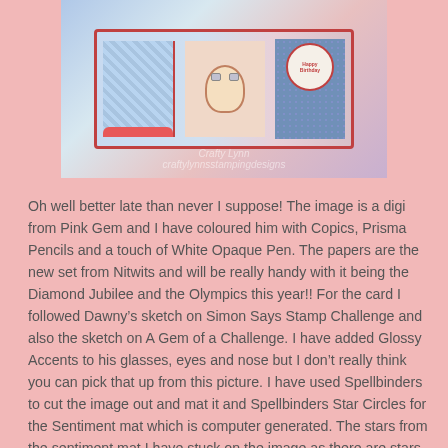[Figure (photo): Photo of a handmade greeting card with red border, blue diamond pattern paper, red and blue patterned panels, a cartoon character in the center, and a circular 'Happy Birthday' sentiment in the top right corner.]
Oh well better late than never I suppose!  The image is a digi from Pink Gem and I have coloured him with Copics,  Prisma Pencils and a touch of White Opaque Pen.  The papers are the new set from Nitwits and will be really handy with it being the Diamond Jubilee and the Olympics this year!! For the card I followed Dawny's sketch on Simon Says Stamp Challenge and also the sketch on A Gem of a Challenge. I have added Glossy Accents to his glasses, eyes and nose but I don't really think you can pick that up from this picture.  I have used Spellbinders to cut the image out and mat it and Spellbinders Star Circles for the Sentiment mat which is computer generated.  The stars from the sentiment mat I have stuck on the image as there are stars actually on the image.  The pennants are Dienamics and gems, ribbon and twine are from my stash.  I thought it would be ok for a man even though it has ribbon and gems on (ok maybe a man in